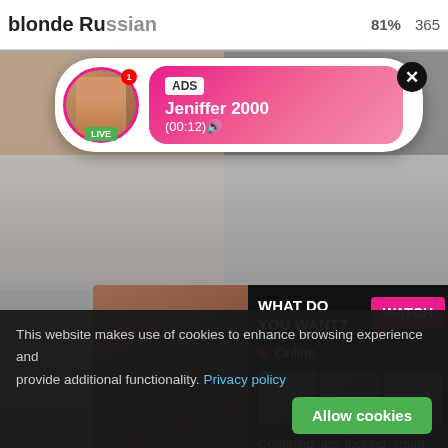blonde Russian ... 81% 365
[Figure (screenshot): Ad popup with avatar showing LIVE badge, notification badge, pink gradient background with ADS label, name Jeniffer 2000, time (00:12), and X close button]
[Figure (screenshot): Main ad overlay on dark background showing WHAT DO YOU WANT? text, WATCH button in pink, Online indicator with red dot, three thumbnail images, text 'Cumming, ass fucking, squirt or... • ADS']
Dane
scoro
800
460
This website makes use of cookies to enhance browsing experience and provide additional functionality. Privacy policy
Allow cookies